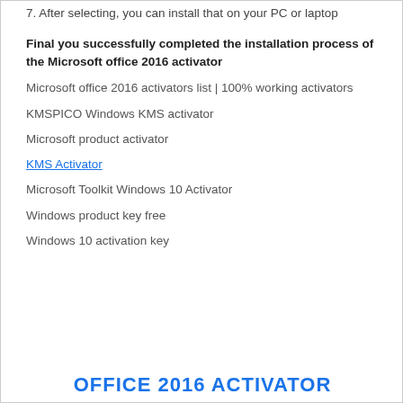7. After selecting, you can install that on your PC or laptop
Final you successfully completed the installation process of the Microsoft office 2016 activator
Microsoft office 2016 activators list | 100% working activators
KMSPICO Windows KMS activator
Microsoft product activator
KMS Activator
Microsoft Toolkit Windows 10 Activator
Windows product key free
Windows 10 activation key
OFFICE 2016 ACTIVATOR